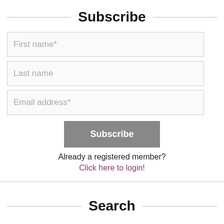Subscribe
First name*
Last name
Email address*
Subscribe
Already a registered member?
Click here to login!
Search